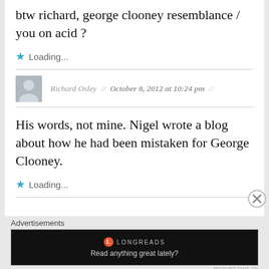btw richard, george clooney resemblance / you on acid ?
Loading...
Richard Osley // October 8, 2012 at 10:24 pm //
His words, not mine. Nigel wrote a blog about how he had been mistaken for George Clooney.
Loading...
Advertisements
[Figure (screenshot): Longreads ad banner with logo and tagline 'Read anything great lately?']